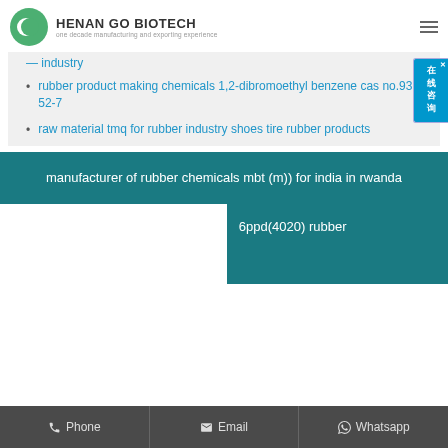HENAN GO BIOTECH — one decade manufacturing and exporting experience
industry
rubber product making chemicals 1,2-dibromoethyl benzene cas no.93-52-7
raw material tmq for rubber industry shoes tire rubber products
manufacturer of rubber chemicals mbt (m)) for india in rwanda
6ppd(4020) rubber
Phone   Email   Whatsapp